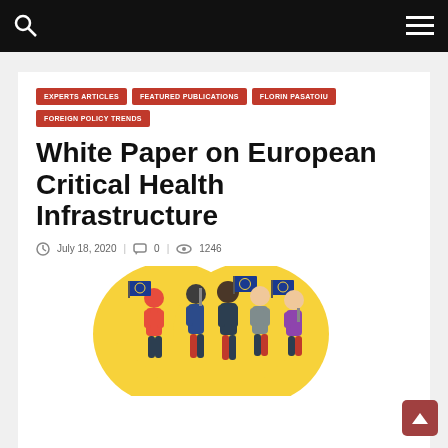EXPERTS ARTICLES | FEATURED PUBLICATIONS | FLORIN PASATOIU | FOREIGN POLICY TRENDS
White Paper on European Critical Health Infrastructure
July 18, 2020  |  0  |  1246
[Figure (illustration): Illustration of people holding EU flags in front of a yellow heart shape background]